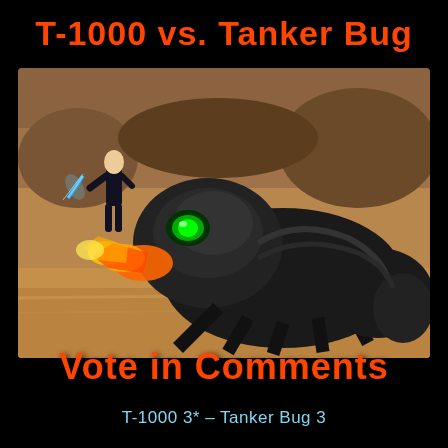T-1000 vs. Tanker Bug
[Figure (illustration): A composite image showing a humanoid figure in black holding a glowing blue sword, facing a large dark alien insect (Tanker Bug) that is emitting orange flames. Background is a desert/rocky terrain.]
Vote in Comments
T-1000 3* – Tanker Bug 3